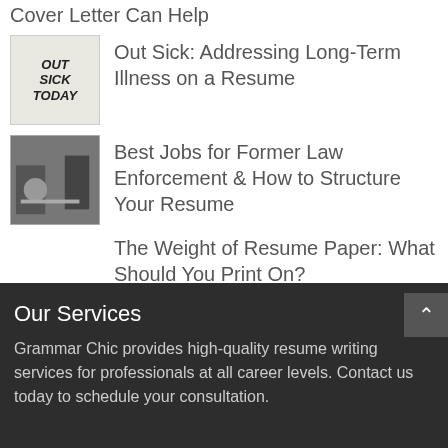Cover Letter Can Help
Out Sick: Addressing Long-Term Illness on a Resume
Best Jobs for Former Law Enforcement & How to Structure Your Resume
The Weight of Resume Paper: What Should You Print On?
Our Services
Grammar Chic provides high-quality resume writing services for professionals at all career levels. Contact us today to schedule your consultation.